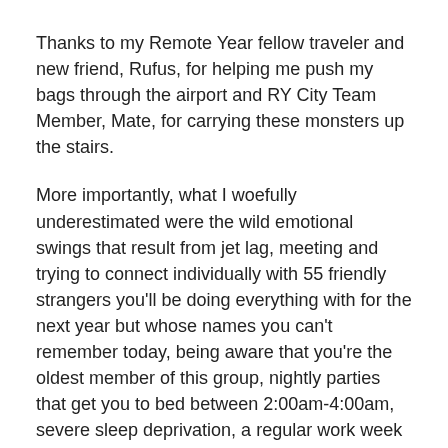Thanks to my Remote Year fellow traveler and new friend, Rufus, for helping me push my bags through the airport and RY City Team Member, Mate, for carrying these monsters up the stairs.
More importantly, what I woefully underestimated were the wild emotional swings that result from jet lag, meeting and trying to connect individually with 55 friendly strangers you'll be doing everything with for the next year but whose names you can't remember today, being aware that you're the oldest member of this group, nightly parties that get you to bed between 2:00am-4:00am, severe sleep deprivation, a regular work week but with a 6-hour time difference and the shocking realization that you are not going home at the end of 2 weeks which instantly makes you miss your people and your place in the world with an intensity you've never felt before. Since I Am The Northstar in the Relationship...